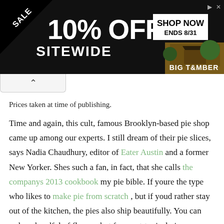[Figure (other): Advertisement banner: black background with 'SALE' triangle, '10% OFF SITEWIDE', 'SHOP NOW ENDS 8/31', and 'BIG TIMBER' logo with photo of outdoor structure]
Prices taken at time of publishing.
Time and again, this cult, famous Brooklyn-based pie shop came up among our experts. I still dream of their pie slices, says Nadia Chaudhury, editor of Eater Austin and a former New Yorker. Shes such a fan, in fact, that she calls the companys 2013 cookbook my pie bible. If youre the type who likes to make pie from scratch , but if youd rather stay out of the kitchen, the pies also ship beautifully. You can order a handful of flavors, but for a not-typical pie, Chaudhury says to opt for the bakerys signature salty honey pie, with its wonderfully gooey, sweet, luscious, and just-rightly-intense custard.